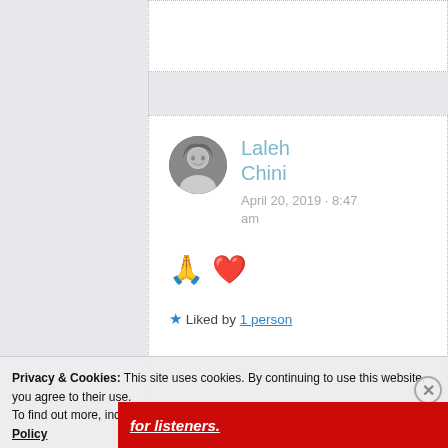[Figure (screenshot): Top portion of a social media comment card, cropped at the top of the page, showing a dotted border card on a light gray background.]
Laleh Chini
April 20, 2019 · 8:47 am
🙏 ❤
★ Liked by 1 person
Privacy & Cookies: This site uses cookies. By continuing to use this website, you agree to their use.
To find out more, including how to control cookies, see here: Cookie Policy
Close and accept
[Figure (photo): Red advertisement banner at the bottom with white italic underlined text reading 'for listeners.' and a partial image of a device.]